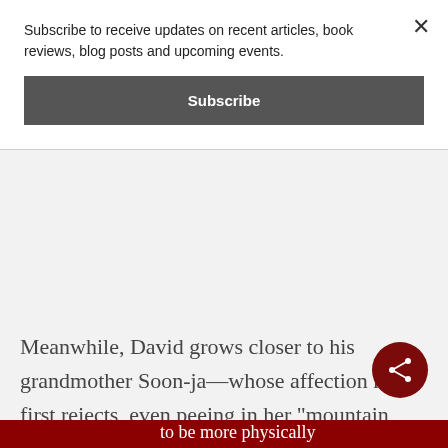Subscribe to receive updates on recent articles, book reviews, blog posts and upcoming events.
Subscribe
Meanwhile, David grows closer to his grandmother Soon-ja—whose affection he at first rejects, even peeing in her “mountain water” (Mountain Dew). She teaches him card games, bandages his wounds, and soothes him to sleep. She also
to be more physically